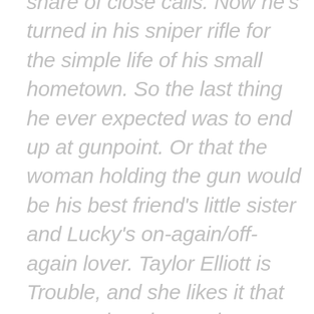share of close calls. Now he's turned in his sniper rifle for the simple life of his small hometown. So the last thing he ever expected was to end up at gunpoint. Or that the woman holding the gun would be his best friend's little sister and Lucky's on-again/off-again lover. Taylor Elliott is Trouble, and she likes it that way. And seeing Lucky again? Well, he's been her dirty little secret for the past few years and everyone knows that secrets